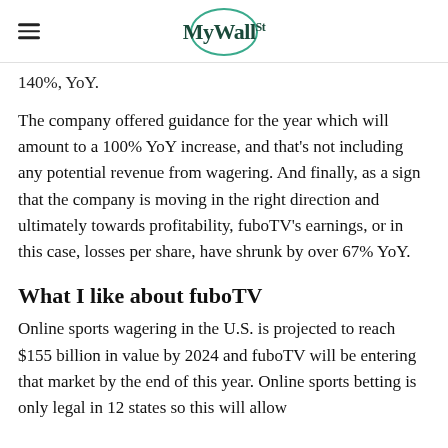MyWallSt
140%, YoY.
The company offered guidance for the year which will amount to a 100% YoY increase, and that's not including any potential revenue from wagering. And finally, as a sign that the company is moving in the right direction and ultimately towards profitability, fuboTV's earnings, or in this case, losses per share, have shrunk by over 67% YoY.
What I like about fuboTV
Online sports wagering in the U.S. is projected to reach $155 billion in value by 2024 and fuboTV will be entering that market by the end of this year. Online sports betting is only legal in 12 states so this will allow